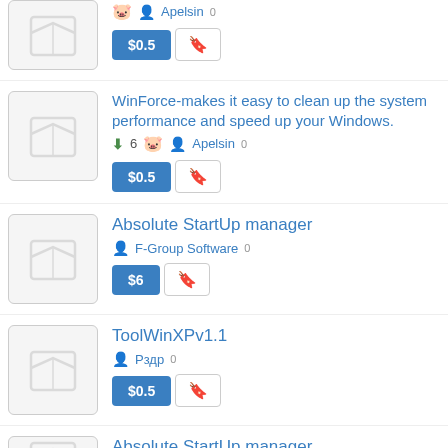Apelsin 0 | $0.5 | [bookmark]
WinForce-makes it easy to clean up the system performance and speed up your Windows. | 6 downloads | Apelsin 0 | $0.5 | [bookmark]
Absolute StartUp manager | F-Group Software 0 | $6 | [bookmark]
ToolWinXPv1.1 | Рздр 0 | $0.5 | [bookmark]
Absolute StartUp manager | F-Group Software 0